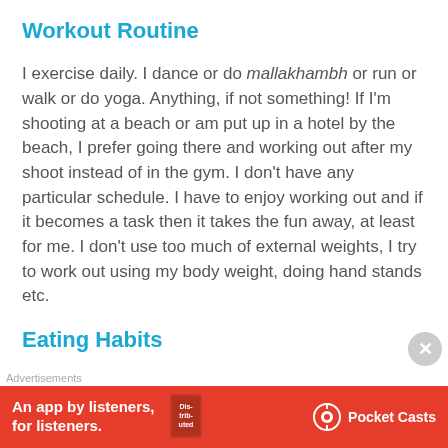Workout Routine
I exercise daily. I dance or do mallakhambh or run or walk or do yoga. Anything, if not something! If I'm shooting at a beach or am put up in a hotel by the beach, I prefer going there and working out after my shoot instead of in the gym. I don't have any particular schedule. I have to enjoy working out and if it becomes a task then it takes the fun away, at least for me. I don't use too much of external weights, I try to work out using my body weight, doing hand stands etc.
Eating Habits
I'm a vegetarian since birth and now, since the past 10 months, I have turned vegan.
Advertisements
[Figure (other): Pocket Casts advertisement banner: red background with text 'An app by listeners, for listeners.' and Pocket Casts logo with podcast book graphic.]